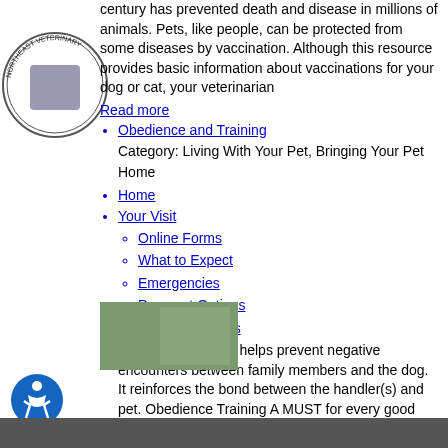century has prevented death and disease in millions of animals. Pets, like people, can be protected from some diseases by vaccination. Although this resource provides basic information about vaccinations for your dog or cat, your veterinarian
Read more
Obedience and Training
Category: Living With Your Pet, Bringing Your Pet Home
Home
Your Visit
Online Forms
What to Expect
Emergencies
Payment Options
Hospital Policies
Obedience training helps prevent negative encounters between family members and the dog. It reinforces the bond between the handler(s) and pet. Obedience Training A MUST for every good family dog, regardless of size or breed. Puppies may start classes when they are as young as 8 weeks old. Obedience
About Us
Services
Meet Our Team
Testimonials
Prescription / Food Refill Request
Pet Owner Resources
More
Read more
Veterinary Topics
Pet Health